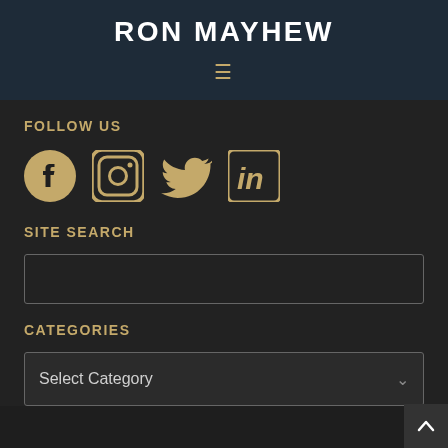RON MAYHEW
FOLLOW US
[Figure (infographic): Social media icons: Facebook, Instagram, Twitter, LinkedIn in gold/tan color]
SITE SEARCH
[Figure (other): Search input text box with border]
CATEGORIES
[Figure (other): Select Category dropdown box]